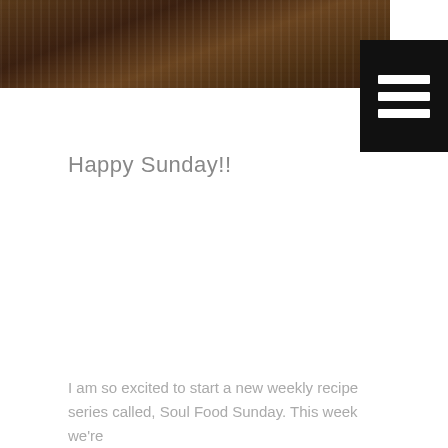[Figure (photo): Dark brown wood texture banner image at the top of the page]
[Figure (other): Black hamburger menu icon with three white horizontal lines]
Happy Sunday!!
I am so excited to start a new weekly recipe series called, Soul Food Sunday. This week we're